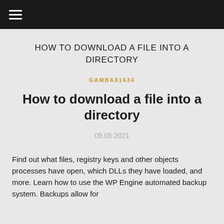≡
HOW TO DOWNLOAD A FILE INTO A DIRECTORY
GAMBA81634
How to download a file into a directory
09.05.2021
Find out what files, registry keys and other objects processes have open, which DLLs they have loaded, and more. Learn how to use the WP Engine automated backup system. Backups allow for